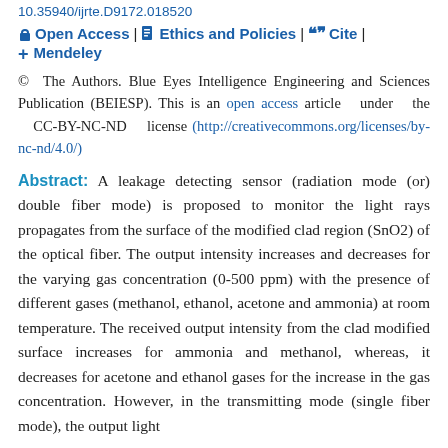10.35940/ijrte.D9172.018520
Open Access | Ethics and Policies | Cite | Mendeley
© The Authors. Blue Eyes Intelligence Engineering and Sciences Publication (BEIESP). This is an open access article under the CC-BY-NC-ND license (http://creativecommons.org/licenses/by-nc-nd/4.0/)
Abstract: A leakage detecting sensor (radiation mode (or) double fiber mode) is proposed to monitor the light rays propagates from the surface of the modified clad region (SnO2) of the optical fiber. The output intensity increases and decreases for the varying gas concentration (0-500 ppm) with the presence of different gases (methanol, ethanol, acetone and ammonia) at room temperature. The received output intensity from the clad modified surface increases for ammonia and methanol, whereas, it decreases for acetone and ethanol gases for the increase in the gas concentration. However, in the transmitting mode (single fiber mode), the output light